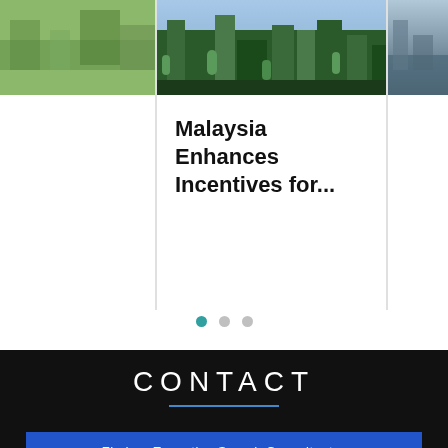[Figure (photo): Aerial city view photo (partial, left side clipped) showing green landscape]
[Figure (photo): Aerial city view photo (center) showing dense urban area with green trees and buildings]
[Figure (photo): Waterfront city photo (partial, right side clipped)]
Malaysia Enhances Incentives for...
CONTACT
Find an Executive Search Consultant >
Sweden
Lilla Varvsgatan 14, 211 15 Malmö Sweden
Phone nr: +46 734 353560